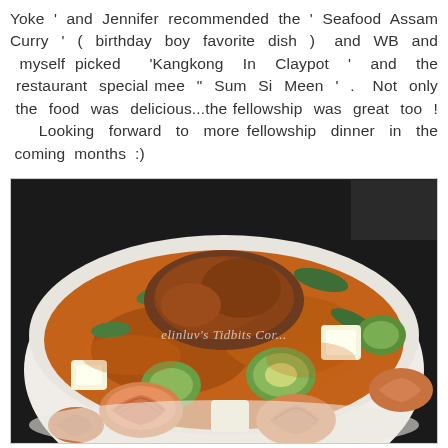Yoke ' and Jennifer recommended the ' Seafood Assam Curry ' ( birthday boy favorite dish ) and WB and myself picked 'Kangkong In Claypot ' and the restaurant special mee " Sum Si Meen ' . Not only the food was delicious...the fellowship was great too ! Looking forward to more fellowship dinner in the coming months :)
[Figure (photo): A bowl of Seafood Assam Curry with prawns, tofu, vegetables in a rich orange-brown curry sauce, served in a white bowl. Watermark reads "elinluv's Tidbits Cor..."]